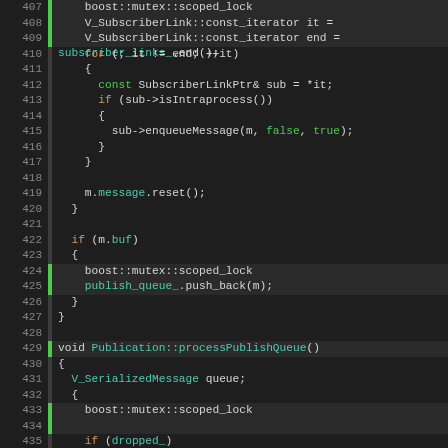[Figure (screenshot): Source code viewer showing C++ code lines 407-435 with syntax highlighting. Line numbers in left gutter, green bars indicating code coverage, colored keywords and identifiers.]